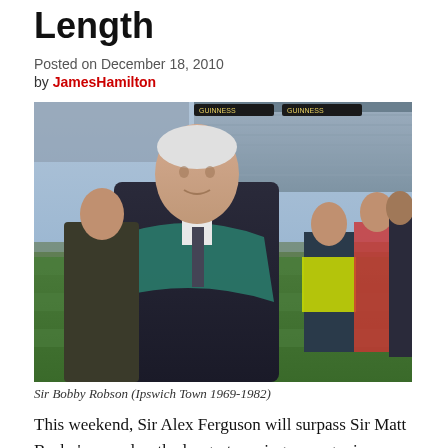Length
Posted on December 18, 2010
by JamesHamilton
[Figure (photo): Sir Bobby Robson standing on a football pitch sideline at a stadium, wearing a dark suit and teal scarf, with other people in the background including a person in a hi-vis vest. Stadium stands visible in the background.]
Sir Bobby Robson (Ipswich Town 1969-1982)
This weekend, Sir Alex Ferguson will surpass Sir Matt Busby's record as the longest serving manager in